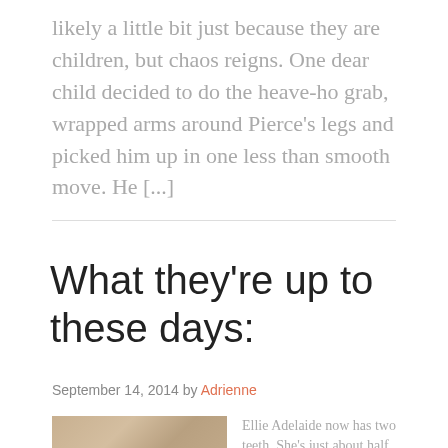likely a little bit just because they are children, but chaos reigns. One dear child decided to do the heave-ho grab, wrapped arms around Pierce’s legs and picked him up in one less than smooth move. He [...]
What they’re up to these days:
September 14, 2014 by Adrienne
[Figure (photo): Close-up photo of a child's face, cropped to show forehead and upper face area]
Ellie Adelaide now has two teeth. She’s just about half